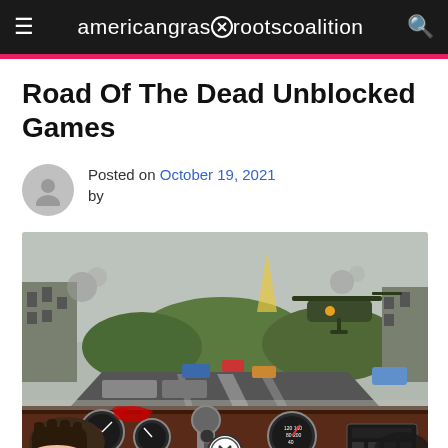americangrassrootscoalition
Road Of The Dead Unblocked Games
Posted on October 19, 2021 by
[Figure (screenshot): Screenshot of Road of the Dead video game showing a first-person view from inside a car driving down a road with zombies, other vehicles, a helicopter in the background, and a post-apocalyptic cityscape]